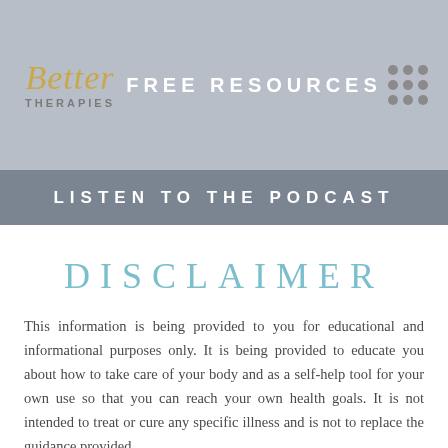Better Therapies — FREE RESOURCES
LISTEN TO THE PODCAST
DISCLAIMER
This information is being provided to you for educational and informational purposes only. It is being provided to educate you about how to take care of your body and as a self-help tool for your own use so that you can reach your own health goals. It is not intended to treat or cure any specific illness and is not to replace the guidance provided